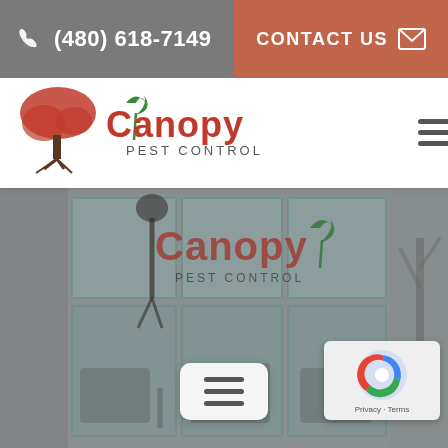(480) 618-7149  CONTACT US
[Figure (logo): Canopy Pest Control logo with red tree and green sprout, shown in navigation bar]
[Figure (photo): Background photo of a commercial building facade with large glass window panes in a grid pattern, Canopy Pest Control logo overlaid in center, muted gray tones]
[Figure (other): reCAPTCHA badge in bottom right corner with Privacy and Terms text]
[Figure (other): Floating hamburger menu button in bottom center]